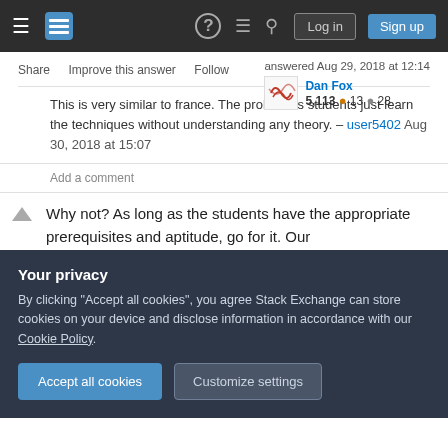Stack Exchange navigation bar with Log in and Sign up buttons
Share   Improve this answer   Follow
answered Aug 29, 2018 at 12:14
Dan Fox
5,113 ● 13 ● 28
This is very similar to france. The problem is students just learn the techniques without understanding any theory. – user5402 Aug 30, 2018 at 15:07
Add a comment
Why not? As long as the students have the appropriate prerequisites and aptitude, go for it. Our
Your privacy
By clicking "Accept all cookies", you agree Stack Exchange can store cookies on your device and disclose information in accordance with our Cookie Policy.
Accept all cookies   Customize settings